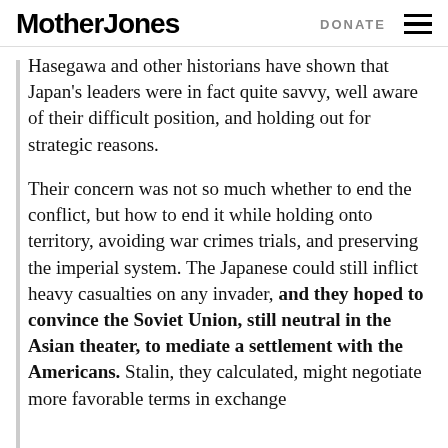Mother Jones   DONATE
Hasegawa and other historians have shown that Japan's leaders were in fact quite savvy, well aware of their difficult position, and holding out for strategic reasons.
Their concern was not so much whether to end the conflict, but how to end it while holding onto territory, avoiding war crimes trials, and preserving the imperial system. The Japanese could still inflict heavy casualties on any invader, and they hoped to convince the Soviet Union, still neutral in the Asian theater, to mediate a settlement with the Americans. Stalin, they calculated, might negotiate more favorable terms in exchange